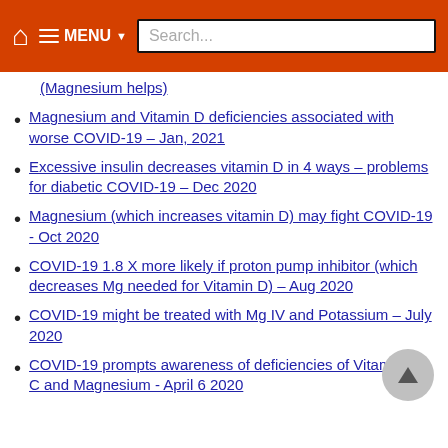MENU Search...
(Magnesium helps)
Magnesium and Vitamin D deficiencies associated with worse COVID-19 – Jan, 2021
Excessive insulin decreases vitamin D in 4 ways – problems for diabetic COVID-19 – Dec 2020
Magnesium (which increases vitamin D) may fight COVID-19 - Oct 2020
COVID-19 1.8 X more likely if proton pump inhibitor (which decreases Mg needed for Vitamin D) – Aug 2020
COVID-19 might be treated with Mg IV and Potassium – July 2020
COVID-19 prompts awareness of deficiencies of Vitamin D, C and Magnesium - April 6 2020